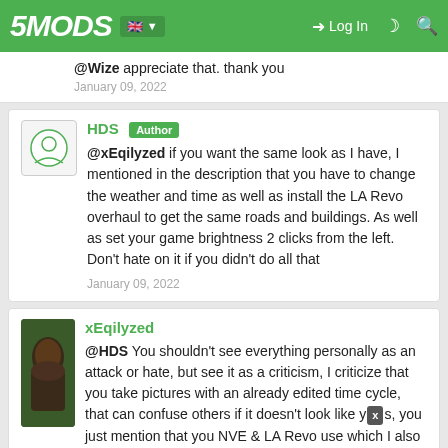5MODS | Log In
@Wize appreciate that. thank you
January 09, 2022
HDS [Author]
@xEqilyzed if you want the same look as I have, I mentioned in the description that you have to change the weather and time as well as install the LA Revo overhaul to get the same roads and buildings. As well as set your game brightness 2 clicks from the left. Don't hate on it if you didn't do all that
January 09, 2022
xEqilyzed
@HDS You shouldn't see everything personally as an attack or hate, but see it as a criticism, I criticize that you take pictures with an already edited time cycle, that can confuse others if it doesn't look like yours, you just mention that you NVE & LA Revo use which I also use but it doesn't look like yours